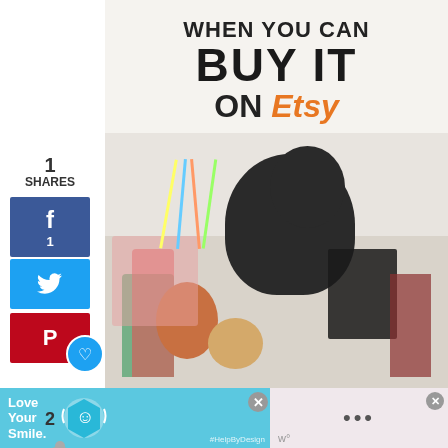1
SHARES
f
1
🐦
P
❤
2
[Figure (photo): Book cover titled 'WHEN YOU CAN BUY IT on Etsy' with a black Labrador dog sitting among craft supplies including yarn, colored pencils, washi tape, notebooks, pens, and various craft materials on a table]
[Figure (photo): Advertisement banner at the bottom: 'Love Your Smile.' with a dental/health product graphic including a cyan hexagon shape and #HelpByDesign hashtag. Two close buttons visible. Right side shows dots pattern on pink background.]